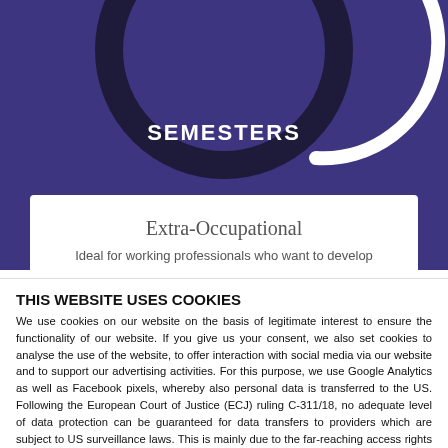[Figure (infographic): Partial donut/gauge chart on purple background showing SEMESTERS label, white arc on dark circle]
SEMESTERS
Extra-Occupational
Ideal for working professionals who want to develop
THIS WEBSITE USES COOKIES
We use cookies on our website on the basis of legitimate interest to ensure the functionality of our website. If you give us your consent, we also set cookies to analyse the use of the website, to offer interaction with social media via our website and to support our advertising activities. For this purpose, we use Google Analytics as well as Facebook pixels, whereby also personal data is transferred to the US. Following the European Court of Justice (ECJ) ruling C-311/18, no adequate level of data protection can be guaranteed for data transfers to providers which are subject to US surveillance laws. This is mainly due to the far-reaching access rights of US authorities, the lack of need to obtain a court authorisation for such access and the lack of legal protection for EU citizens. This means that data collected from you is subject to the risk of surveillance by US authorities and no appeal can be taken against this. The EU and the US are currently working to find a solution to eliminate legal uncertainty. Until then, we set all other cookies (cookies for preferences, statistics, marketing and unclassified cookies) on the basis of your express consent in accordance with the exceptional circumstances of Art 49 para. 1 liter. General Data Protection Regulation (GDPR). More detailed